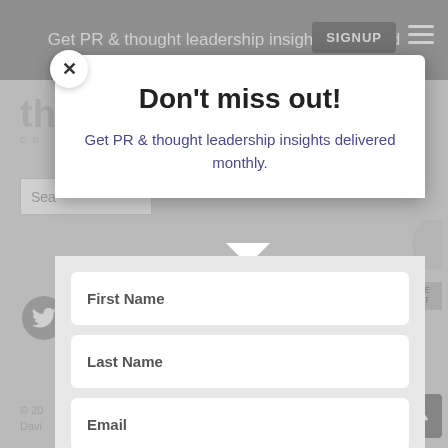Get PR & thought leadership insights delivered
Don't miss out!
Get PR & thought leadership insights delivered monthly.
First Name
Last Name
Email
SIGN UP